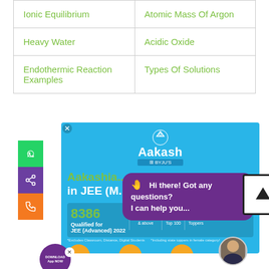| Ionic Equilibrium | Atomic Mass Of Argon |
| Heavy Water | Acidic Oxide |
| Endothermic Reaction Examples | Types Of Solutions |
[Figure (screenshot): Aakash by BYJU'S advertisement banner showing JEE results (8386 Qualified for JEE Advanced 2022, 729 at 99 Percentile & above, 12 in Top 100, 12 State Toppers), with chat bubble 'Hi there! Got any questions? I can help you...', social media sidebar icons (WhatsApp, share, phone), download app button, and student faces]